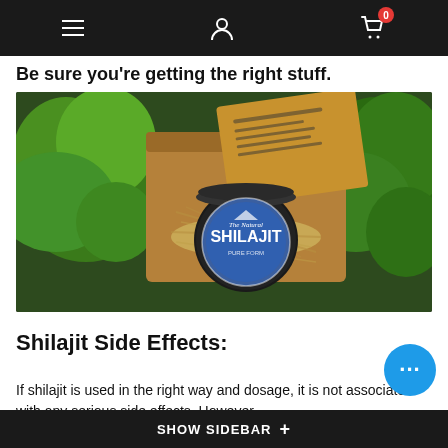Navigation bar with menu, user, and cart (0 items)
Be sure you're getting the right stuff.
[Figure (photo): A jar of Shilajit supplement product labeled 'The Natural SHILAJIT' in a wooden box filled with straw, surrounded by green leafy herbs, with a branded Ayurvedic Shilajit powder instruction card visible in the box lid.]
Shilajit Side Effects:
If shilajit is used in the right way and dosage, it is not associated with any serious side effects. However,
SHOW SIDEBAR +